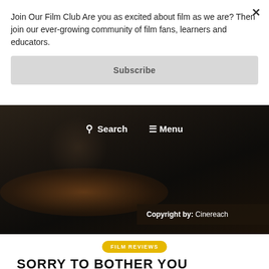Join Our Film Club Are you as excited about film as we are? Then join our ever-growing community of film fans, learners and educators.
Subscribe
[Figure (screenshot): Dark cinematic hero image with warm brown bokeh light at bottom, serving as website header background]
Search
Menu
Copyright by: Cinereach
FILM REVIEWS
SORRY TO BOTHER YOU